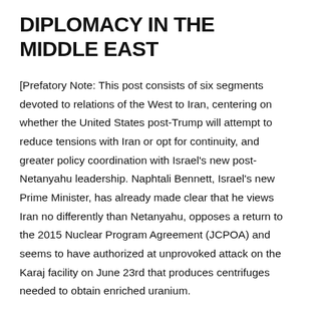DIPLOMACY IN THE MIDDLE EAST
[Prefatory Note: This post consists of six segments devoted to relations of the West to Iran, centering on whether the United States post-Trump will attempt to reduce tensions with Iran or opt for continuity, and greater policy coordination with Israel's new post-Netanyahu leadership. Naphtali Bennett, Israel's new Prime Minister, has already made clear that he views Iran no differently than Netanyahu, opposes a return to the 2015 Nuclear Program Agreement (JCPOA) and seems to have authorized at unprovoked attack on the Karaj facility on June 23rd that produces centrifuges needed to obtain enriched uranium.
When the U.S. Government withdrew from the hard